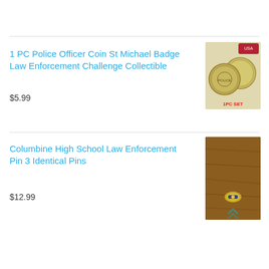[Figure (photo): Photo of three police challenge coins labeled 1PC SET with USA flag badge icon]
1 PC Police Officer Coin St Michael Badge Law Enforcement Challenge Collectible
$5.99
[Figure (photo): Photo of a Columbine High School law enforcement pin on a wooden surface]
Columbine High School Law Enforcement Pin 3 Identical Pins
$12.99